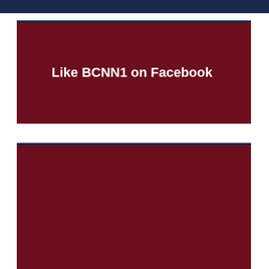Like BCNN1 on Facebook
Top Posts & Pages
HERE WE GO and THE DEVIL IS A LIE and THIS IS SO UNFAIR TO YOUNG, TALENTED, BEAUTIFUL, REAL WOMEN WHO ARE IN PROFESSIONAL GOLFING: Man Masquerading as a Woman Will Become the First Such So-called Transgender Person to Join the Coveted Ladies Professional Golf Association Tour Card